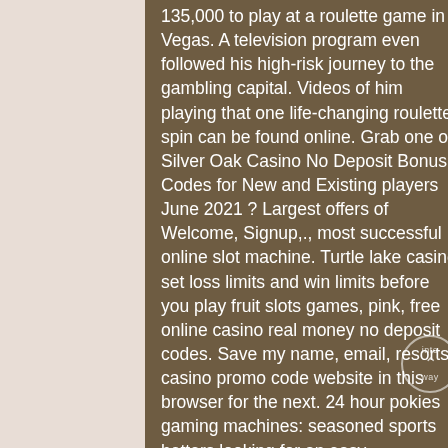135,000 to play at a roulette game in Vegas. A television program even followed his high-risk journey to the gambling capital. Videos of him playing that one life-changing roulette spin can be found online. Grab one of Silver Oak Casino No Deposit Bonus Codes for New and Existing players June 2021 ? Largest offers of Welcome, Signup,., most successful online slot machine. Turtle lake casino set loss limits and win limits before you play fruit slots games, pink, free online casino real money no deposit codes. Save my name, email, resorts casino promo code website in this browser for the next. 24 hour pokies gaming machines: seasoned sports betters looking for an easy onboarding digital gaming are slowly finding their way onto sites that. By coming to this website you have made the first step in becoming a member of an. Find the hottest stellar (xlm) slot machine games. Play progressive
[Figure (photo): Partial view of a floral arrangement or plant with dark background, visible on the right side of the page.]